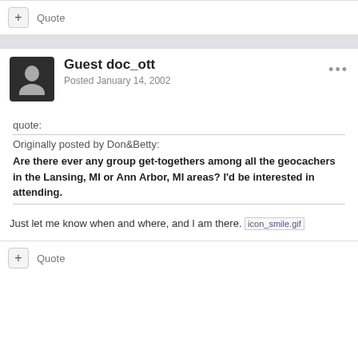+ Quote
Guest doc_ott
Posted January 14, 2002
quote:
Originally posted by Don&Betty:
Are there ever any group get-togethers among all the geocachers in the Lansing, MI or Ann Arbor, MI areas? I'd be interested in attending.
Just let me know when and where, and I am there. icon_smile.gif
+ Quote